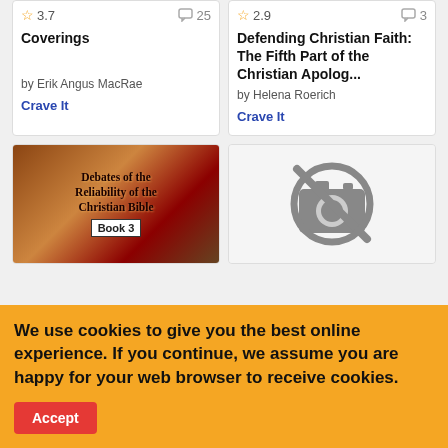[Figure (screenshot): Book listing card: Coverings, rating 3.7, 25 comments, by Erik Angus MacRae, Crave It link]
[Figure (screenshot): Book listing card: Defending Christian Faith: The Fifth Part of the Christian Apolog..., rating 2.9, 3 comments, by Helena Roerich, Crave It link]
[Figure (screenshot): Book cover image: Debates of the Reliability of the Christian Bible, Book 3]
[Figure (screenshot): Placeholder image: no-image camera icon with slash]
We use cookies to give you the best online experience. If you continue, we assume you are happy for your web browser to receive cookies.